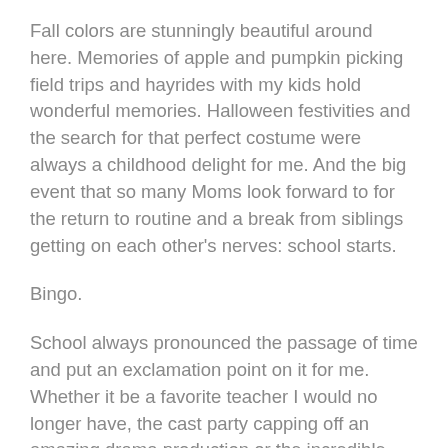Fall colors are stunningly beautiful around here. Memories of apple and pumpkin picking field trips and hayrides with my kids hold wonderful memories. Halloween festivities and the search for that perfect costume were always a childhood delight for me. And the big event that so many Moms look forward to for the return to routine and a break from siblings getting on each other's nerves: school starts.
Bingo.
School always pronounced the passage of time and put an exclamation point on it for me. Whether it be a favorite teacher I would no longer have, the cast party capping off an amazing drama production or the incredible sports season coming to an end. School...